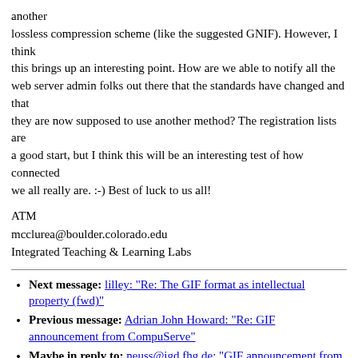another lossless compression scheme (like the suggested GNIF). However, I think this brings up an interesting point. How are we able to notify all the web server admin folks out there that the standards have changed and that they are now supposed to use another method? The registration lists are a good start, but I think this will be an interesting test of how connected we all really are. :-) Best of luck to us all!
ATM
mcclurea@boulder.colorado.edu
Integrated Teaching & Learning Labs
Next message: lilley: "Re: The GIF format as intellectual property (fwd)"
Previous message: Adrian John Howard: "Re: GIF announcement from CompuServe"
Maybe in reply to: neuss@igd.fhg.de: "GIF announcement from CompuServe"
Next in thread: Tim Trautmann: "Re: GIF announcement